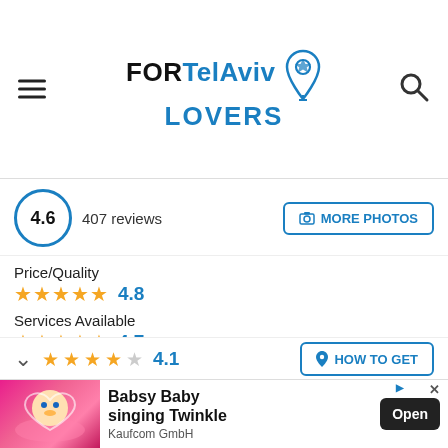FORTelAviv LOVERS (logo with location pin and search icon)
4.6  407 reviews  MORE PHOTOS
Price/Quality ★★★★★ 4.8
Services Available ★★★★½ 4.7
Location Possibility ★★★★☆ 4.2
Parking ★★★★½ 4.4
HOW TO GET
[Figure (screenshot): Advertisement banner: Babsy Baby singing Twinkle app ad with cartoon baby character on pink background, Open button, Kaufcom GmbH]